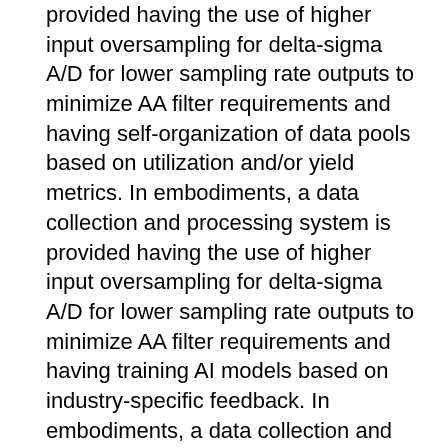provided having the use of higher input oversampling for delta-sigma A/D for lower sampling rate outputs to minimize AA filter requirements and having self-organization of data pools based on utilization and/or yield metrics. In embodiments, a data collection and processing system is provided having the use of higher input oversampling for delta-sigma A/D for lower sampling rate outputs to minimize AA filter requirements and having training AI models based on industry-specific feedback. In embodiments, a data collection and processing system is provided having the use of higher input oversampling for delta-sigma A/D for lower sampling rate outputs to minimize AA filter requirements and having a self-organized swarm of industrial data collectors. In embodiments, a data collection and processing system is provided having the use of higher input oversampling for delta-sigma A/D for lower sampling rate outputs to minimize AA filter requirements and having an IoT distributed ledger. In embodiments, a data collection and processing system is provided having the use of higher input oversampling for delta-sigma A/D for lower sampling rate outputs to minimize AA filter requirements and having a self-organizing collector. In embodiments, a data